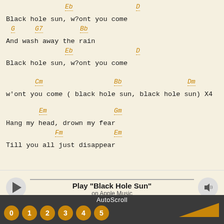Eb                        D
Black hole sun, w?ont you come
   G      G7         Bb
And wash away the rain
            Eb                    D
Black hole sun, w?ont you come
Cm                       Bb                          Dm
w'ont you come ( black hole sun, black hole sun) X4
Em               Gm
Hang my head, drown my fear
            Fm          Em
Till you all just disappear
Play "Black Hole Sun"
on Apple Music
1.  NASA BLACK HOLE
AutoScroll
0  1  2  3  4  5